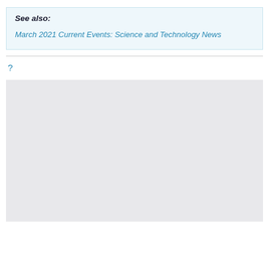See also:
March 2021 Current Events: Science and Technology News
?
[Figure (other): Gray placeholder box representing an image or content area]